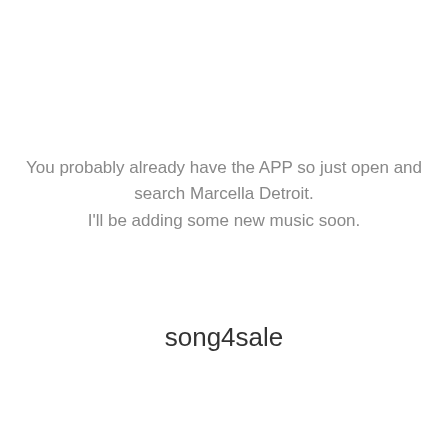You probably already have the APP so just open and search Marcella Detroit. I'll be adding some new music soon.
song4sale